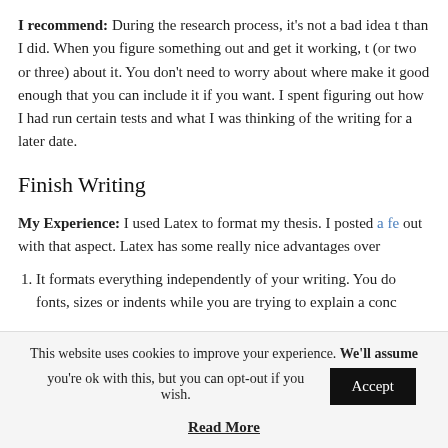I recommend: During the research process, it's not a bad idea t… than I did. When you figure something out and get it working, t… (or two or three) about it. You don't need to worry about where … make it good enough that you can include it if you want. I spent … figuring out how I had run certain tests and what I was thinking … of the writing for a later date.
Finish Writing
My Experience: I used Latex to format my thesis. I posted a fe… out with that aspect. Latex has some really nice advantages over…
It formats everything independently of your writing. You do… fonts, sizes or indents while you are trying to explain a conc…
This website uses cookies to improve your experience. We'll assume you're ok with this, but you can opt-out if you wish. [Accept]
Read More